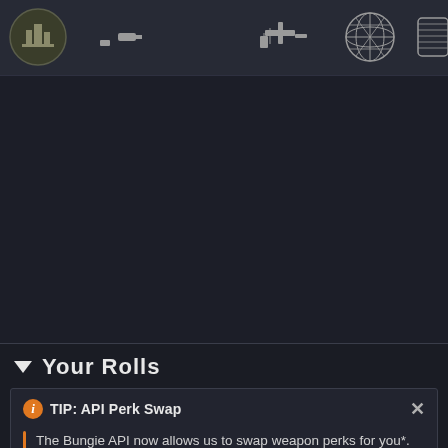[Figure (screenshot): Top navigation bar with 5 game weapon/equipment icons on dark background]
[Figure (screenshot): Large dark empty content area, likely a weapon detail or perk display panel]
▼  Your Rolls
TIP: API Perk Swap
The Bungie API now allows us to swap weapon perks for you*. Click individual perks below to swap them in-game.